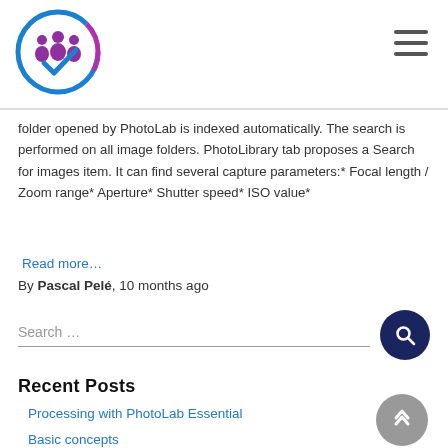[Figure (logo): Circular logo with blue and purple ring, group of people icon with checkmark in center]
folder opened by PhotoLab is indexed automatically. The search is performed on all image folders. PhotoLibrary tab proposes a Search for images item. It can find several capture parameters:* Focal length / Zoom range* Aperture* Shutter speed* ISO value*
Read more…
By Pascal Pelé, 10 months ago
Search …
Recent Posts
Processing with PhotoLab Essential
Basic concepts